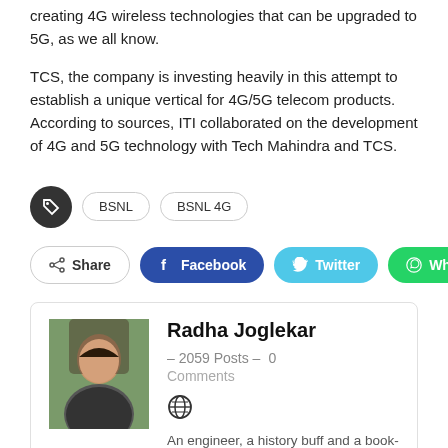creating 4G wireless technologies that can be upgraded to 5G, as we all know.
TCS, the company is investing heavily in this attempt to establish a unique vertical for 4G/5G telecom products. According to sources, ITI collaborated on the development of 4G and 5G technology with Tech Mahindra and TCS.
Tags: BSNL  BSNL 4G
Share  Facebook  Twitter  WhatsApp
Radha Joglekar – 2059 Posts – 0 Comments
An engineer, a history buff and a book-eater. A writer with a newfound interest in technology,